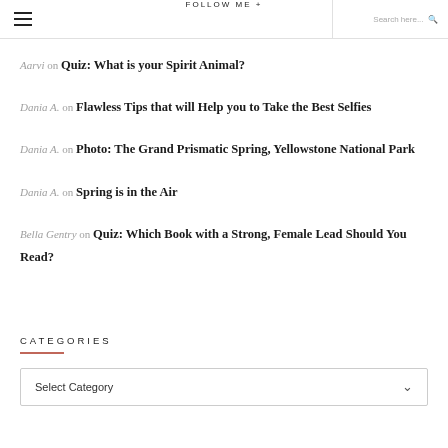FOLLOW ME +   Search here...
Aarvi on Quiz: What is your Spirit Animal?
Dania A. on Flawless Tips that will Help you to Take the Best Selfies
Dania A. on Photo: The Grand Prismatic Spring, Yellowstone National Park
Dania A. on Spring is in the Air
Bella Gentry on Quiz: Which Book with a Strong, Female Lead Should You Read?
CATEGORIES
Select Category